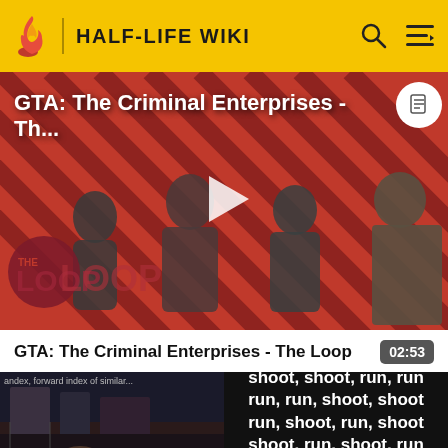HALF-LIFE WIKI
[Figure (screenshot): Video thumbnail for 'GTA: The Criminal Enterprises - The Loop' showing game characters on a striped red and dark background with a play button overlay and The Loop logo]
GTA: The Criminal Enterprises - The Loop
02:53
[Figure (screenshot): Half-Life game thumbnail showing dark urban scene with Half-Life logo text]
[Figure (screenshot): Black thumbnail with white bold text repeating: shoot, shoot, run, run, run, run, shoot, shoot, run, shoot, run, shoot, shoot, run, shoot, run, run, run, shoot, shoot]